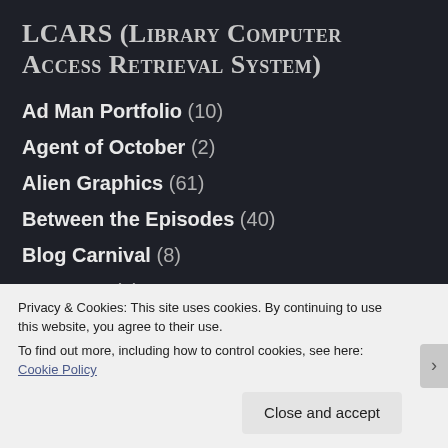LCARS (Library Computer Access Retrieval System)
Ad Man Portfolio (10)
Agent of October (2)
Alien Graphics (61)
Between the Episodes (40)
Blog Carnival (8)
Car Wars (9)
Comic Books (45)
Connection Ministries (19)
Privacy & Cookies: This site uses cookies. By continuing to use this website, you agree to their use.
To find out more, including how to control cookies, see here: Cookie Policy
Close and accept